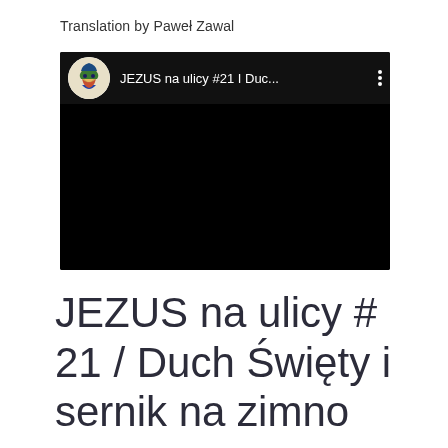Translation by Paweł Zawal
[Figure (screenshot): YouTube video embed screenshot showing a black video player with channel icon (colorful religious icon illustration) and title 'JEZUS na ulicy #21 I Duc...' with three-dot menu icon.]
JEZUS na ulicy # 21 / Duch Święty i sernik na zimno